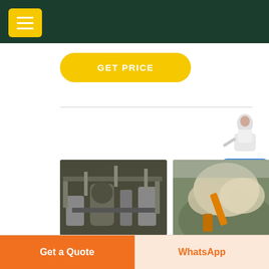GET PRICE
[Figure (photo): Three industrial/mining equipment photos side by side: left shows mill interior with pipes and machinery, center shows dust cloud from crushing operation outdoors, right shows mining/crushing plant structure]
Types Of Milling Cutters - Bright Hub Engineering
Get a Quote
WhatsApp